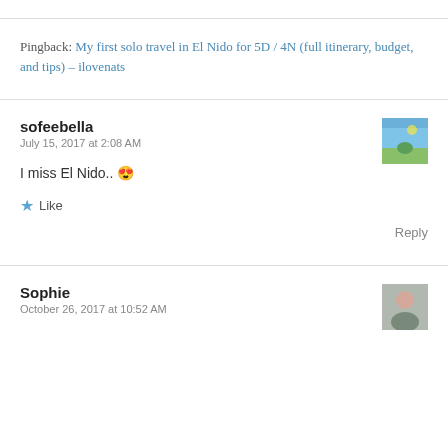Pingback: My first solo travel in El Nido for 5D / 4N (full itinerary, budget, and tips) – ilovenats
sofeebella
July 15, 2017 at 2:08 AM
I miss El Nido.. 😍
★ Like
Reply
Sophie
October 26, 2017 at 10:52 AM